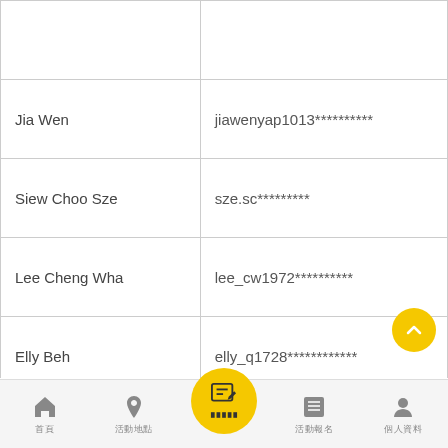| Name/Phone | Email/Username |
| --- | --- |
|  |  |
| Jia Wen | jiawenyap1013********** |
| Siew Choo Sze | sze.sc********* |
| Lee Cheng Wha | lee_cw1972********** |
| Elly Beh | elly_q1728************ |
| 6016626**** | galveansoh********** |
| Zhan Lee | zhanlee1987************ |
| Agnes Goh | gohjhingwen********** |
| Pei Cheng | peicheng72********** |
| Dennis Lau | hiengchie********** |
| 6017451**** | lowynhui9139************ |
Home | Location | Edit | Feed | Profile